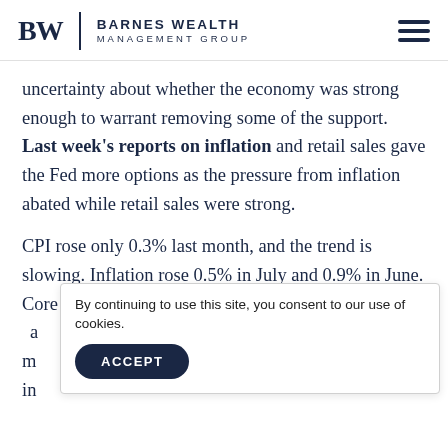BW | Barnes Wealth Management Group
uncertainty about whether the economy was strong enough to warrant removing some of the support. Last week’s reports on inflation and retail sales gave the Fed more options as the pressure from inflation abated while retail sales were strong.
CPI rose only 0.3% last month, and the trend is slowing. Inflation rose 0.5% in July and 0.9% in June. Core inflation, which excludes the more volatile food a... m... in...
By continuing to use this site, you consent to our use of cookies.
ACCEPT